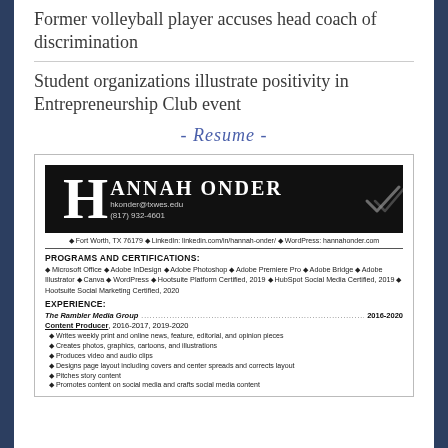Former volleyball player accuses head coach of discrimination
Student organizations illustrate positivity in Entrepreneurship Club event
- Resume -
[Figure (screenshot): Resume thumbnail for Hannah Onder showing header with large H logo, contact information, programs and certifications section, and experience section listing The Rambler Media Group 2016-2020 with Content Producer role and bullet points.]